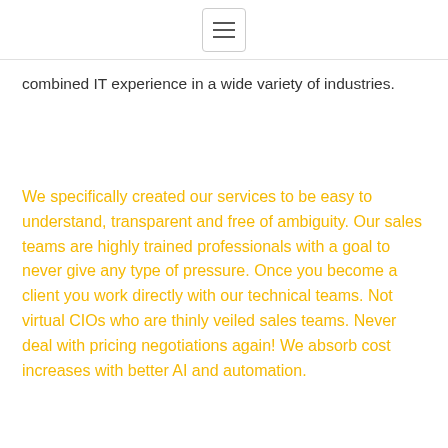≡
combined IT experience in a wide variety of industries.
We specifically created our services to be easy to understand, transparent and free of ambiguity. Our sales teams are highly trained professionals with a goal to never give any type of pressure. Once you become a client you work directly with our technical teams. Not virtual CIOs who are thinly veiled sales teams. Never deal with pricing negotiations again! We absorb cost increases with better AI and automation.